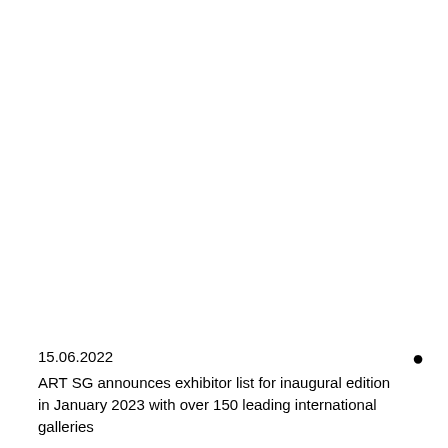15.06.2022
ART SG announces exhibitor list for inaugural edition in January 2023 with over 150 leading international galleries